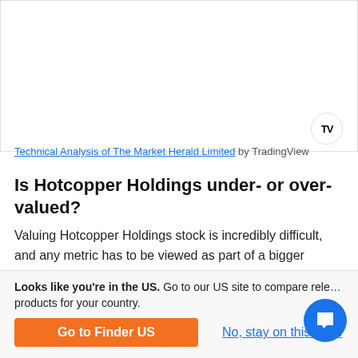[Figure (screenshot): TradingView chart widget area showing technical analysis chart for The Market Herald Limited, with TradingView logo in bottom-right corner]
Technical Analysis of The Market Herald Limited by TradingView
Is Hotcopper Holdings under- or over-valued?
Valuing Hotcopper Holdings stock is incredibly difficult, and any metric has to be viewed as part of a bigger picture of Hotcopper Holdings 's overall performance. However, analysts commonly use some key metrics to help gauge the value of a stock
Looks like you're in the US. Go to our US site to compare relevant products for your country.
Go to Finder US
No, stay on this page